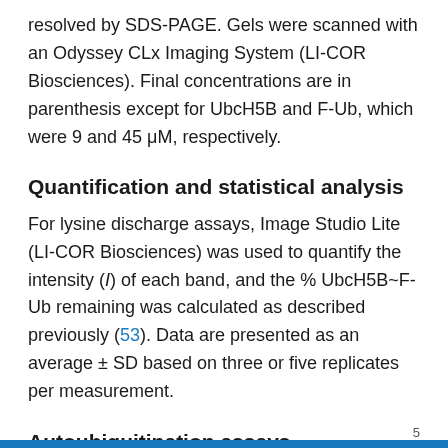resolved by SDS-PAGE. Gels were scanned with an Odyssey CLx Imaging System (LI-COR Biosciences). Final concentrations are in parenthesis except for UbcH5B and F-Ub, which were 9 and 45 μM, respectively.
Quantification and statistical analysis
For lysine discharge assays, Image Studio Lite (LI-COR Biosciences) was used to quantify the intensity (I) of each band, and the % UbcH5B~F-Ub remaining was calculated as described previously (53). Data are presented as an average ± SD based on three or five replicates per measurement.
Autoubiquitination assays
Autoubiquitination assays were performed at 23°C in
5